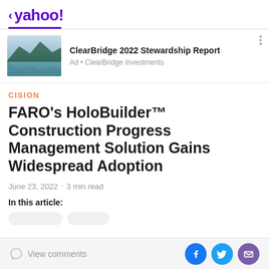< yahoo!
[Figure (photo): Mountain lake landscape photo used as ad thumbnail for ClearBridge 2022 Stewardship Report]
ClearBridge 2022 Stewardship Report
Ad • ClearBridge Investments
CISION
FARO's HoloBuilder™ Construction Progress Management Solution Gains Widespread Adoption
June 23, 2022 · 3 min read
In this article:
View comments